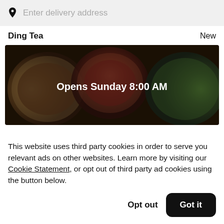Enter delivery address
Ding Tea
New
[Figure (photo): Dark overhead photo of food bowls with text overlay reading 'Opens Sunday 8:00 AM']
This website uses third party cookies in order to serve you relevant ads on other websites. Learn more by visiting our Cookie Statement, or opt out of third party ad cookies using the button below.
Opt out
Got it